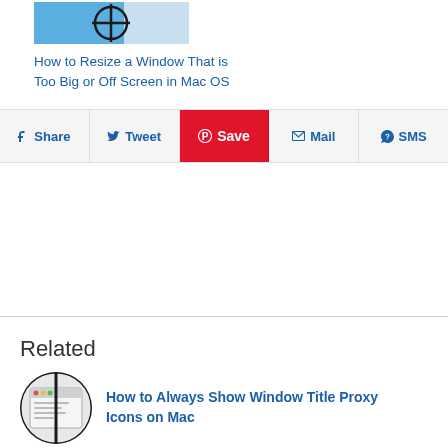[Figure (screenshot): Thumbnail screenshot of Mac OS window resize article showing a window with blue crosshair icon]
How to Resize a Window That is Too Big or Off Screen in Mac OS
Share  Tweet  Save  Mail  SMS
Related
[Figure (photo): Circular thumbnail showing a Mac window with title proxy icon]
How to Always Show Window Title Proxy Icons on Mac